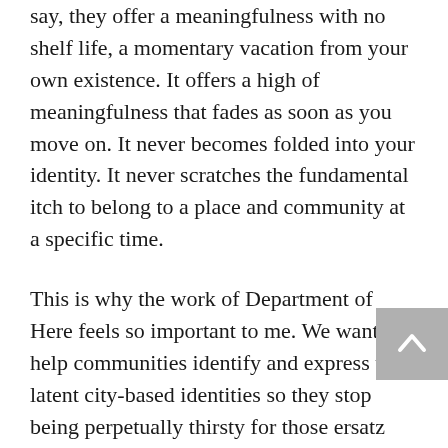say, they offer a meaningfulness with no shelf life, a momentary vacation from your own existence. It offers a high of meaningfulness that fades as soon as you move on. It never becomes folded into your identity. It never scratches the fundamental itch to belong to a place and community at a specific time.
This is why the work of Department of Here feels so important to me. We want to help communities identify and express their latent city-based identities so they stop being perpetually thirsty for those ersatz experiences. We strive to create a civic patriotism that is an analog of the national patriotism that Smith seeks to reclaim from nationalists: a local community-focused patriotism founded on empathy for,